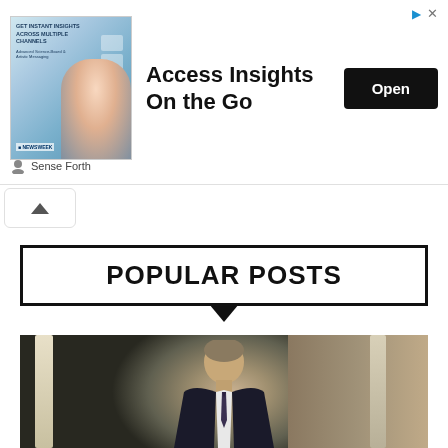[Figure (screenshot): Advertisement banner: 'Access Insights On the Go' with an image showing a woman and mobile icons, and an 'Open' button. Source: Sense Forth.]
[Figure (other): Collapse/scroll-up arrow button (chevron up icon in a rounded rectangle).]
POPULAR POSTS
[Figure (photo): Photograph of a man in a suit and tie standing near white columns, appearing to be from a formal or political setting.]